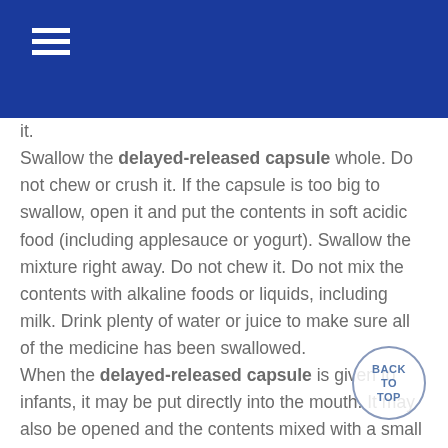it. Swallow the delayed-released capsule whole. Do not chew or crush it. If the capsule is too big to swallow, open it and put the contents in soft acidic food (including applesauce or yogurt). Swallow the mixture right away. Do not chew it. Do not mix the contents with alkaline foods or liquids, including milk. Drink plenty of water or juice to make sure all of the medicine has been swallowed. When the delayed-released capsule is given to infants, it may be put directly into the mouth. It may also be opened and the contents mixed with a small amount of soft food (including applesauce). Do not mix the contents with alkaline foods or liquids, including breast milk or formula. Give 4 ounces of